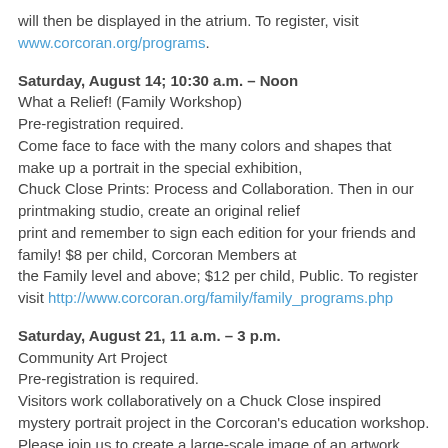will then be displayed in the atrium. To register, visit www.corcoran.org/programs.
Saturday, August 14; 10:30 a.m. – Noon
What a Relief! (Family Workshop)
Pre-registration required.
Come face to face with the many colors and shapes that make up a portrait in the special exhibition, Chuck Close Prints: Process and Collaboration. Then in our printmaking studio, create an original relief print and remember to sign each edition for your friends and family! $8 per child, Corcoran Members at the Family level and above; $12 per child, Public. To register visit http://www.corcoran.org/family/family_programs.php
Saturday, August 21, 11 a.m. – 3 p.m.
Community Art Project
Pre-registration is required.
Visitors work collaboratively on a Chuck Close inspired mystery portrait project in the Corcoran's education workshop. Please join us to create a large-scale image of an artwork from the Corcoran.